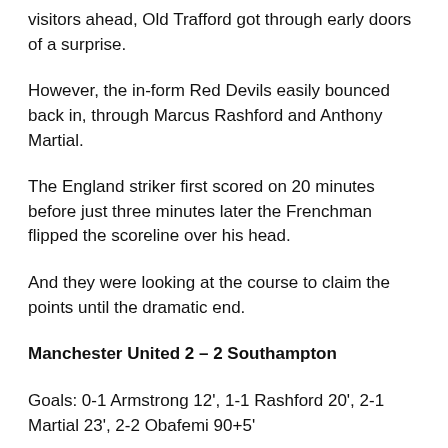visitors ahead, Old Trafford got through early doors of a surprise.
However, the in-form Red Devils easily bounced back in, through Marcus Rashford and Anthony Martial.
The England striker first scored on 20 minutes before just three minutes later the Frenchman flipped the scoreline over his head.
And they were looking at the course to claim the points until the dramatic end.
Manchester United 2 – 2 Southampton
Goals: 0-1 Armstrong 12', 1-1 Rashford 20', 2-1 Martial 23', 2-2 Obafemi 90+5'